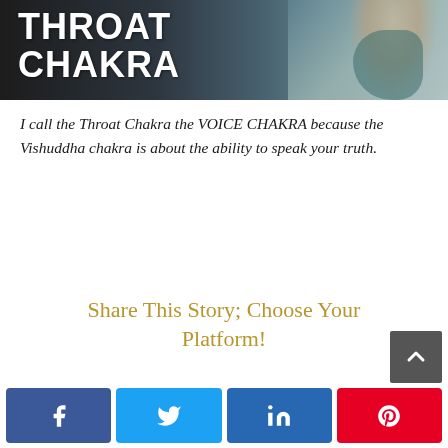[Figure (photo): Image header with white bold text reading 'THROAT CHAKRA' overlaid on a photo background showing a woman in a white blazer and teal outfit]
I call the Throat Chakra the VOICE CHAKRA because the Vishuddha chakra is about the ability to speak your truth.
Share This Story; Choose Your Platform!
[Figure (infographic): Row of social share buttons: Facebook (blue), Twitter (blue), LinkedIn (blue), Pinterest (red), with a grey scroll-to-top arrow button]